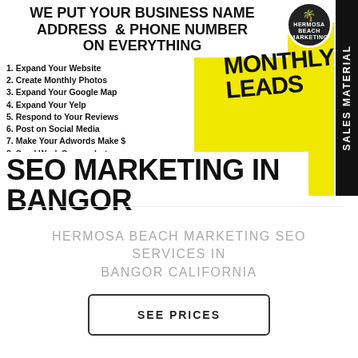[Figure (infographic): Marketing infographic with bold header text 'WE PUT YOUR BUSINESS NAME ADDRESS & PHONE NUMBER ON EVERYTHING', yellow diagonal shape with 'MONTHLY LEADS' text, numbered list of 8 services, 'SEO MARKETING IN BANGOR' large bold title, side panel with 'SALES MATERIAL' text rotated, and a logo circle for Hermosa Beach Marketing.]
WE PUT YOUR BUSINESS NAME ADDRESS & PHONE NUMBER ON EVERYTHING
1. Expand Your Website
2. Create Monthly Photos
3. Expand Your Google Map
4. Expand Your Yelp
5. Respond to Your Reviews
6. Post on Social Media
7. Make Your Adwords Make $
8. Send Work Screenshots
SEO MARKETING IN BANGOR
HERMOSA BEACH MARKETING SEO SERVICES IN BANGOR CALIFORNIA
SEE PRICES